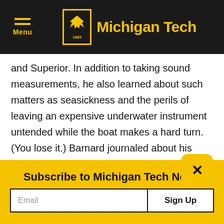Michigan Tech
and Superior. In addition to taking sound measurements, he also learned about such matters as seasickness and the perils of leaving an expensive underwater instrument untended while the boat makes a hard turn. (You lose it.) Barnard journaled about his experiences in Michigan Tech’s research blog, Unscripted.
Why go to all the trouble? Sounds affect th…
Subscribe to Michigan Tech News